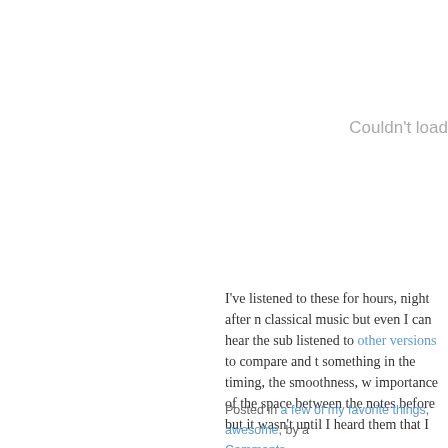Couldn't load
I've listened to these for hours, night after n classical music but even I can hear the sub listened to other versions to compare and t something in the timing, the smoothness, w importance of the space between the notes before but it wasn't until I heard them that I
Posted in a few of my favorite things, awesome, by a Comments »